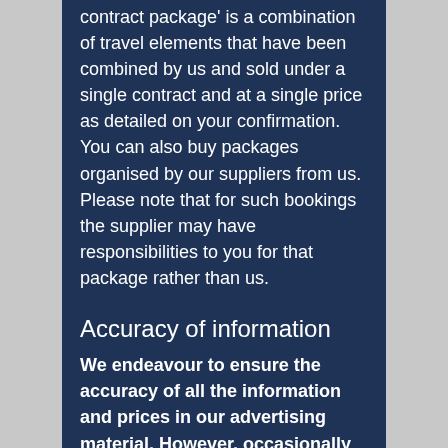contract package' is a combination of travel elements that have been combined by us and sold under a single contract and at a single price as detailed on your confirmation. You can also buy packages organised by our suppliers from us. Please note that for such bookings the supplier may have responsibilities to you for that package rather than us.
Accuracy of information
We endeavour to ensure the accuracy of all the information and prices in our advertising material. However, occasionally changes and errors do arise and we reserve the right to correct them in such circumstances. You must check the current price and all other information relating to the arrangements that you wish to book before your booking is confirmed. We will not be liable for booking...